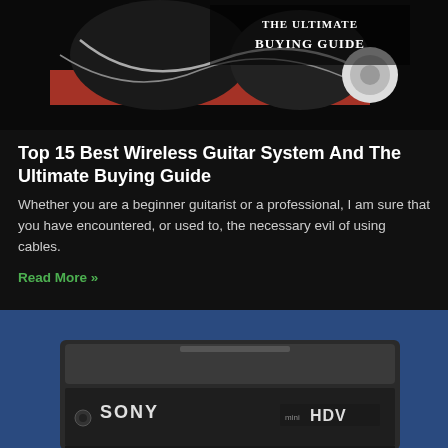[Figure (photo): Top banner image showing wireless guitar system components with 'The Ultimate Buying Guide' text overlay, dark background with guitar cables and equipment]
Top 15 Best Wireless Guitar System And The Ultimate Buying Guide
Whether you are a beginner guitarist or a professional, I am sure that you have encountered, or used to, the necessary evil of using cables.
Read More »
[Figure (photo): Sony HDV device/recorder shown against a blue background, dark colored unit with SONY and HDV branding visible on front panel]